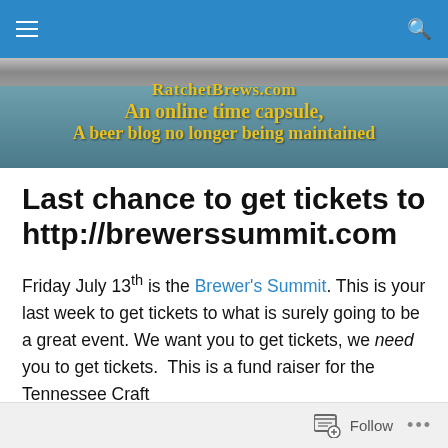Navigation bar with hamburger menu and search icon
[Figure (photo): Banner image for RatchetBrews.com showing brewery equipment in background with yellow bold text overlay reading 'RatchetBrews.com / An online time capsule, / A beer blog no longer being maintained']
Last chance to get tickets to http://brewerssummit.com
Friday July 13th is the Brewer's Summit. This is your last week to get tickets to what is surely going to be a great event. We want you to get tickets, we need you to get tickets. This is a fund raiser for the Tennessee Craft
Follow ...